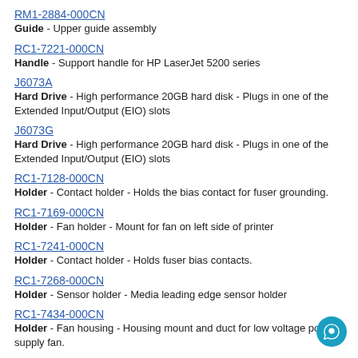RM1-2884-000CN
Guide - Upper guide assembly
RC1-7221-000CN
Handle - Support handle for HP LaserJet 5200 series
J6073A
Hard Drive - High performance 20GB hard disk - Plugs in one of the Extended Input/Output (EIO) slots
J6073G
Hard Drive - High performance 20GB hard disk - Plugs in one of the Extended Input/Output (EIO) slots
RC1-7128-000CN
Holder - Contact holder - Holds the bias contact for fuser grounding.
RC1-7169-000CN
Holder - Fan holder - Mount for fan on left side of printer
RC1-7241-000CN
Holder - Contact holder - Holds fuser bias contacts.
RC1-7268-000CN
Holder - Sensor holder - Media leading edge sensor holder
RC1-7434-000CN
Holder - Fan housing - Housing mount and duct for low voltage power supply fan.